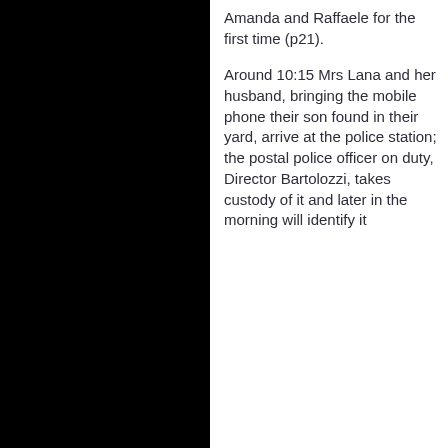Amanda and Raffaele for the first time (p21).
Around 10:15 Mrs Lana and her husband, bringing the mobile phone their son found in their yard, arrive at the police station; the postal police officer on duty, Director Bartolozzi, takes custody of it and later in the morning will identify it